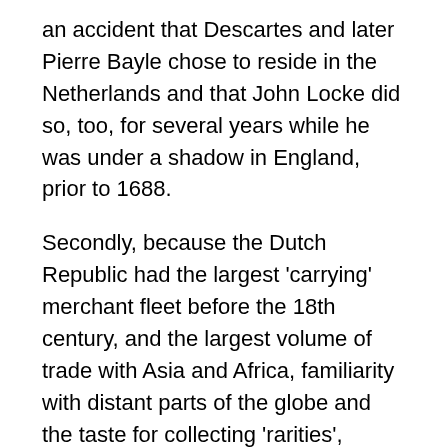an accident that Descartes and later Pierre Bayle chose to reside in the Netherlands and that John Locke did so, too, for several years while he was under a shadow in England, prior to 1688.
Secondly, because the Dutch Republic had the largest 'carrying' merchant fleet before the 18th century, and the largest volume of trade with Asia and Africa, familiarity with distant parts of the globe and the taste for collecting 'rarities', artefacts, manuscripts, coins, art objects, exotic plants and antiquities from distant parts provided a stronger, more obvious base than could be found in France, Italy or Germany, for example, for establishing private collections and museums functioning as a spur to early efforts in ethnography, anthropology, botany, geology and other social and exact sciences.